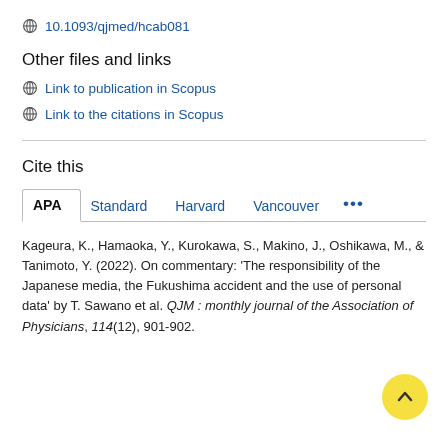10.1093/qjmed/hcab081
Other files and links
Link to publication in Scopus
Link to the citations in Scopus
Cite this
APA | Standard | Harvard | Vancouver | ...
Kageura, K., Hamaoka, Y., Kurokawa, S., Makino, J., Oshikawa, M., & Tanimoto, Y. (2022). On commentary: 'The responsibility of the Japanese media, the Fukushima accident and the use of personal data' by T. Sawano et al. QJM : monthly journal of the Association of Physicians, 114(12), 901-902.